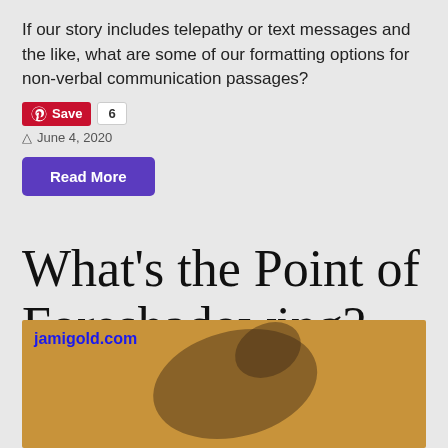If our story includes telepathy or text messages and the like, what are some of our formatting options for non-verbal communication passages?
[Figure (other): Pinterest Save button with count 6]
June 4, 2020
Read More
What's the Point of Foreshadowing?
[Figure (photo): Sandy surface with a dark shadow of a person silhouette. Text overlay reads jamigold.com in blue.]